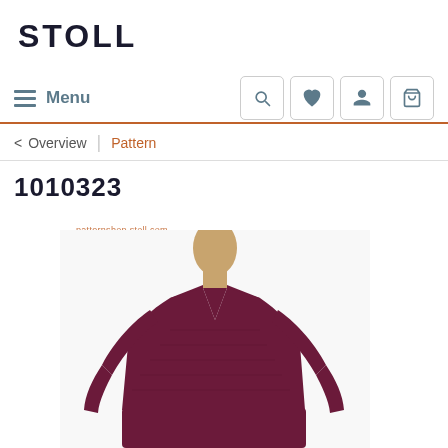STOLL
Menu
Overview | Pattern
1010323
[Figure (photo): A mannequin wearing a dark burgundy/maroon knitted polo-neck dress with long sleeves and a V-neckline with collar, displayed against a white background. Watermark text reads: patternshop.stoll.com]